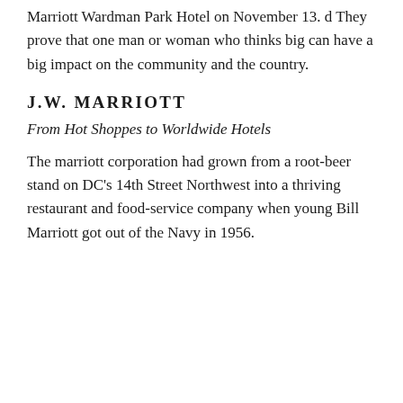Marriott Wardman Park Hotel on November 13. d They prove that one man or woman who thinks big can have a big impact on the community and the country.
J.W. MARRIOTT
From Hot Shoppes to Worldwide Hotels
The marriott corporation had grown from a root-beer stand on DC's 14th Street Northwest into a thriving restaurant and food-service company when young Bill Marriott got out of the Navy in 1956.